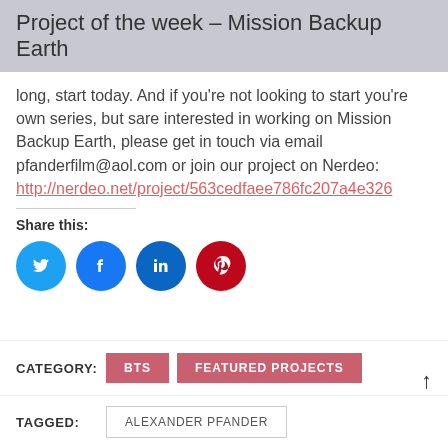Project of the week – Mission Backup Earth
long, start today. And if you're not looking to start you're own series, but sare interested in working on Mission Backup Earth, please get in touch via email pfanderfilm@aol.com or join our project on Nerdeo: http://nerdeo.net/project/563cedfaee786fc207a4e326
Share this:
[Figure (illustration): Row of four social media share buttons: Twitter (blue circle with bird icon), Facebook (blue circle with f icon), LinkedIn (dark blue circle with in icon), Pinterest (red circle with P icon)]
CATEGORY: BTS FEATURED PROJECTS
TAGGED: ALEXANDER PFANDER